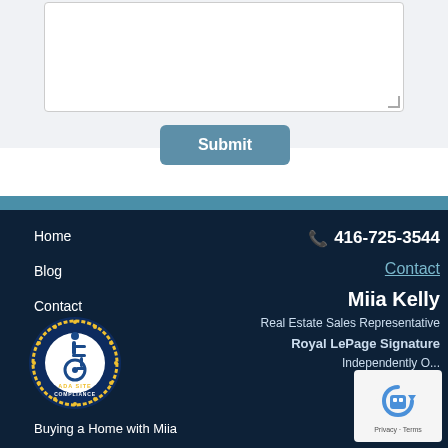[Figure (screenshot): Textarea input box for a web form, with a resize handle in the bottom right corner]
[Figure (screenshot): Submit button with teal/steel blue background and white bold text reading 'Submit']
Home
Blog
Contact
Buying a Home with Miia
416-725-3544
Contact
Miia Kelly
Real Estate Sales Representative
Royal LePage Signature
Independently O...
[Figure (logo): ADA Site Compliance badge — circular seal with wheelchair accessibility icon, gold star border, dark blue background, white text reading ADA SITE COMPLIANCE]
[Figure (other): reCAPTCHA widget showing robot icon with Privacy and Terms links]